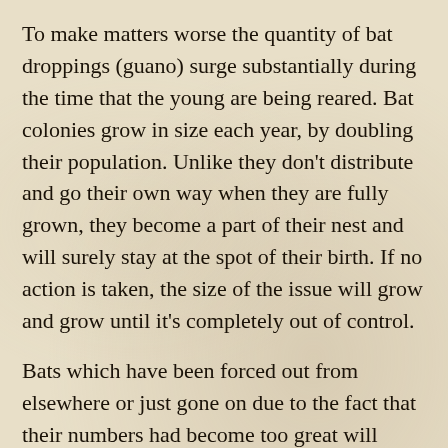To make matters worse the quantity of bat droppings (guano) surge substantially during the time that the young are being reared. Bat colonies grow in size each year, by doubling their population. Unlike they don't distribute and go their own way when they are fully grown, they become a part of their nest and will surely stay at the spot of their birth. If no action is taken, the size of the issue will grow and grow until it's completely out of control.
Bats which have been forced out from elsewhere or just gone on due to the fact that their numbers had become too great will certainly soon locate a new home. No place is off limits and they'll take up residency on your chimney, attic as well as between walls. Preventing entry by sealing off access is unquestionably the best alternative, but who expects they would be invaded by bats in the first place. In no circumstances must they be permitted to gain entry